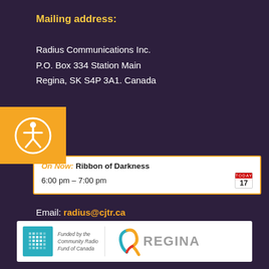Mailing address:
Radius Communications Inc.
P.O. Box 334 Station Main
Regina, SK S4P 3A1. Canada
[Figure (illustration): Accessibility icon: orange square with white person/wheelchair symbol in a circle]
Telephone: 306.525.7274
Email: radius@cjtr.ca
On Now: Ribbon of Darkness
6:00 pm – 7:00 pm
[Figure (logo): Sponsor bar: Community Radio Fund of Canada logo (teal with maple leaf) and City of Regina logo (colorful R with REGINA text)]